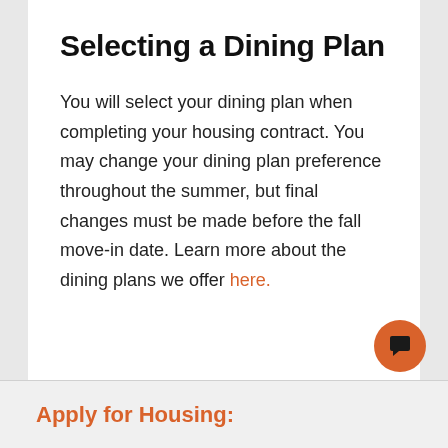Selecting a Dining Plan
You will select your dining plan when completing your housing contract. You may change your dining plan preference throughout the summer, but final changes must be made before the fall move-in date. Learn more about the dining plans we offer here.
Apply for Housing: